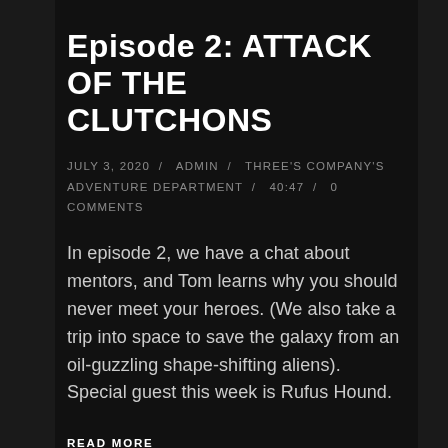Episode 2: ATTACK OF THE CLUTCHONS
JULY 3, 2020 / ADMIN / THREE'S COMPANY'S ADVENTURE DEPARTMENT / 40:47 / 0 COMMENTS
In episode 2, we have a chat about mentors, and Tom learns why you should never meet your heroes. (We also take a trip into space to save the galaxy from an oil-guzzling shape-shifting aliens). Special guest this week is Rufus Hound.
READ MORE